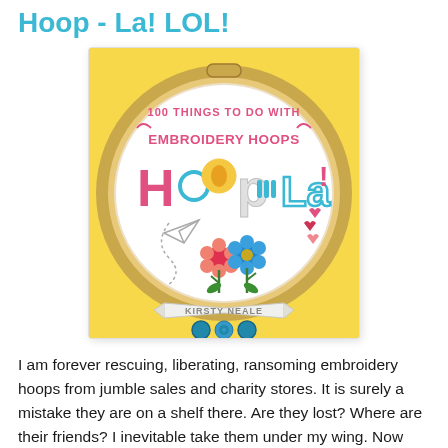Hoop - La! LOL!
[Figure (photo): Book cover of '100 Things to Do with Embroidery Hoops' by Kirsty Neale, displayed as a round embroidery hoop on a yellow background. The hoop shows the word 'Hoop-La!' in colorful decorative letters with embroidery motifs including flowers, hearts, and a paper airplane.]
I am forever rescuing, liberating, ransoming embroidery hoops from jumble sales and charity stores. It is surely a mistake they are on a shelf there. Are they lost? Where are their friends? I inevitable take them under my wing. Now what? asks Richard, not unreasonably. I always promise a